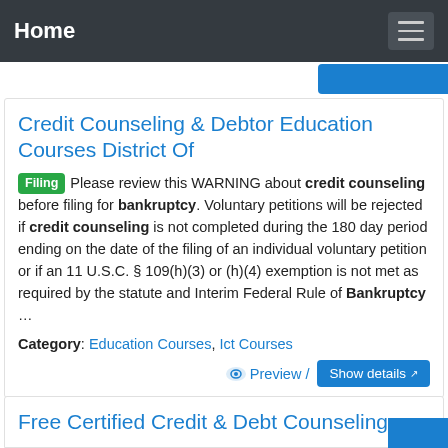Home
Credit Counseling & Debtor Education Courses District Of
Filing Please review this WARNING about credit counseling before filing for bankruptcy. Voluntary petitions will be rejected if credit counseling is not completed during the 180 day period ending on the date of the filing of an individual voluntary petition or if an 11 U.S.C. § 109(h)(3) or (h)(4) exemption is not met as required by the statute and Interim Federal Rule of Bankruptcy …
Category: Education Courses, Ict Courses
Preview / Show details
Free Certified Credit & Debt Counseling